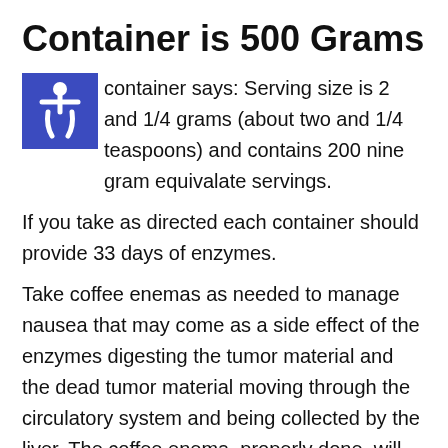Container is 500 Grams
container says: Serving size is 2 and 1/4 grams (about two and 1/4 teaspoons) and contains 200 nine gram equivalate servings.
If you take as directed each container should provide 33 days of enzymes.
Take coffee enemas as needed to manage nausea that may come as a side effect of the enzymes digesting the tumor material and the dead tumor material moving through the circulatory system and being collected by the liver. The coffee enema, properly done, will dump some bile from the liver, which will make